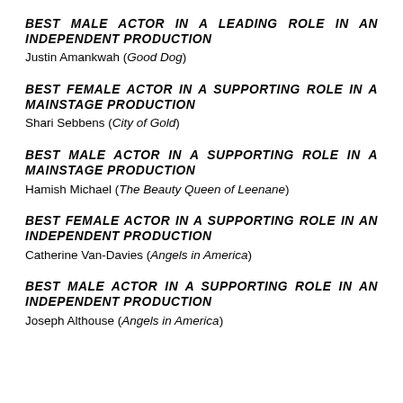BEST MALE ACTOR IN A LEADING ROLE IN AN INDEPENDENT PRODUCTION
Justin Amankwah (Good Dog)
BEST FEMALE ACTOR IN A SUPPORTING ROLE IN A MAINSTAGE PRODUCTION
Shari Sebbens (City of Gold)
BEST MALE ACTOR IN A SUPPORTING ROLE IN A MAINSTAGE PRODUCTION
Hamish Michael (The Beauty Queen of Leenane)
BEST FEMALE ACTOR IN A SUPPORTING ROLE IN AN INDEPENDENT PRODUCTION
Catherine Van-Davies (Angels in America)
BEST MALE ACTOR IN A SUPPORTING ROLE IN AN INDEPENDENT PRODUCTION
Joseph Althouse (Angels in America)